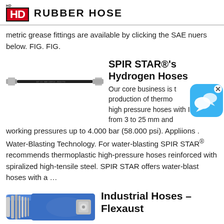HD RUBBER HOSE
metric grease fittings are available by clicking the SAE nuers below. FIG. FIG.
[Figure (photo): A black rubber hydraulic hose with silver metal fittings on each end, shown horizontally against a white background.]
SPIR STAR®'s Hydrogen Hoses
Our core business is the production of thermoplastic high pressure hoses with ID's from 3 to 25 mm and working pressures up to 4.000 bar (58.000 psi). Appliions . Water-Blasting Technology. For water-blasting SPIR STAR® recommends thermoplastic high-pressure hoses reinforced with spiralized high-tensile steel. SPIR STAR offers water-blast hoses with a ...
[Figure (photo): A blue and silver industrial flexible hose/exhaust showing spiraled metal reinforcement.]
Industrial Hoses – Flexaust